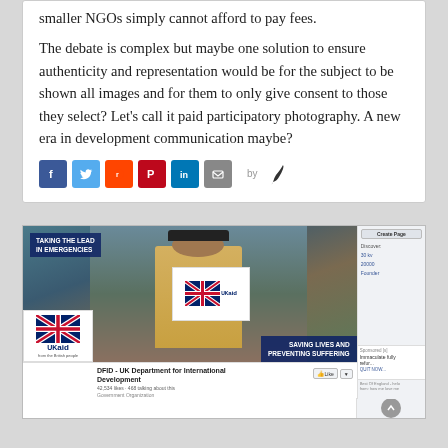smaller NGOs simply cannot afford to pay fees.
The debate is complex but maybe one solution to ensure authenticity and representation would be for the subject to be shown all images and for them to only give consent to those they select? Let's call it paid participatory photography. A new era in development communication maybe?
[Figure (screenshot): Screenshot of DFID UK Department for International Development Facebook page, showing a cover photo of a worker in a high-visibility vest holding a UKaid box, with banners reading 'TAKING THE LEAD IN EMERGENCIES' and 'SAVING LIVES AND PREVENTING SUFFERING'. The page shows 42,534 likes and 468 talking about this.]